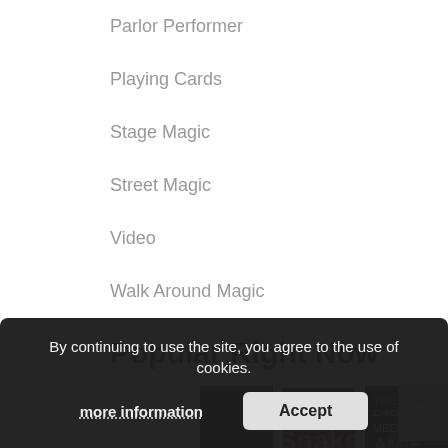Parlor Performer
Playing Cards
Stage Magic
Street Magic
Video
Walk Around Magic
Popular Right Now
[Figure (screenshot): Three product thumbnail images: 'UNNE' (pink text on dark background), 'Snake EYES' (Tom Burgoon product with green eyes graphic), and 'THE TAB EXPERIENCE' (purple/neon text with performer photo, November 2017)]
By continuing to use the site, you agree to the use of cookies.
more information
Accept